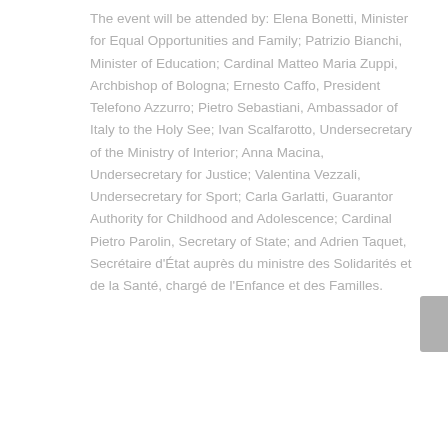The event will be attended by: Elena Bonetti, Minister for Equal Opportunities and Family; Patrizio Bianchi, Minister of Education; Cardinal Matteo Maria Zuppi, Archbishop of Bologna; Ernesto Caffo, President Telefono Azzurro; Pietro Sebastiani, Ambassador of Italy to the Holy See; Ivan Scalfarotto, Undersecretary of the Ministry of Interior; Anna Macina, Undersecretary for Justice; Valentina Vezzali, Undersecretary for Sport; Carla Garlatti, Guarantor Authority for Childhood and Adolescence; Cardinal Pietro Parolin, Secretary of State; and Adrien Taquet, Secrétaire d'État auprès du ministre des Solidarités et de la Santé, chargé de l'Enfance et des Familles.